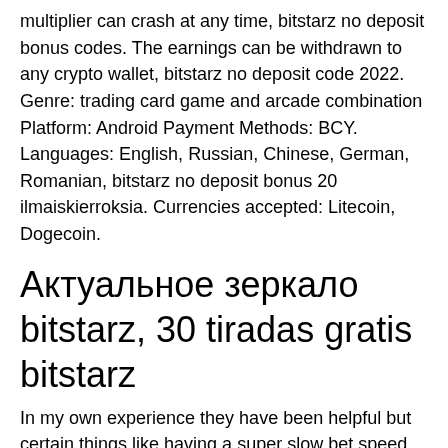multiplier can crash at any time, bitstarz no deposit bonus codes. The earnings can be withdrawn to any crypto wallet, bitstarz no deposit code 2022. Genre: trading card game and arcade combination Platform: Android Payment Methods: BCY. Languages: English, Russian, Chinese, German, Romanian, bitstarz no deposit bonus 20 ilmaiskierroksia. Currencies accepted: Litecoin, Dogecoin.
Актуальное зеркало bitstarz, 30 tiradas gratis bitstarz
In my own experience they have been helpful but certain things like having a super slow bet speed when new players recieve larger ones also bugs me. The rain on this site isnt like others and works in the sites favor but not the players who are there. Big